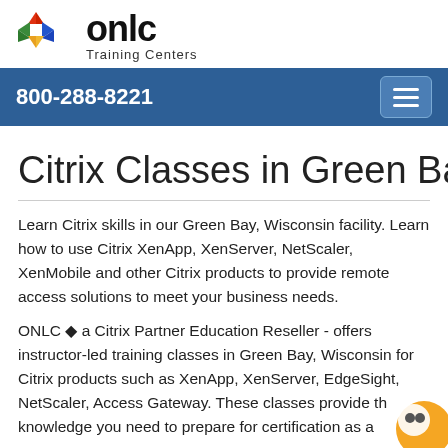[Figure (logo): ONLC Training Centers logo with colorful diamond/kite shape icon and text 'onlc Training Centers']
800-288-8221
Citrix Classes in Green Bay, WI
Learn Citrix skills in our Green Bay, Wisconsin facility. Learn how to use Citrix XenApp, XenServer, NetScaler, XenMobile and other Citrix products to provide remote access solutions to meet your business needs.
ONLC ◆ a Citrix Partner Education Reseller - offers instructor-led training classes in Green Bay, Wisconsin for Citrix products such as XenApp, XenServer, EdgeSight, NetScaler, Access Gateway. These classes provide the knowledge you need to prepare for certification as a